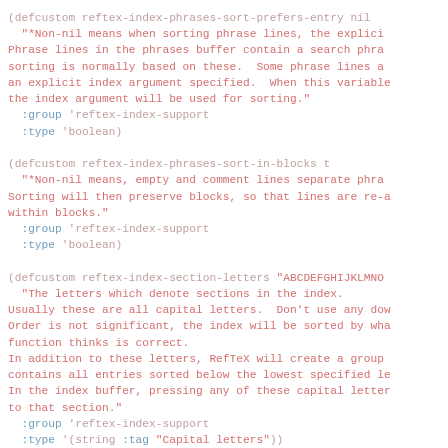(defcustom reftex-index-phrases-sort-prefers-entry nil
  "*Non-nil means when sorting phrase lines, the explicit index argument is preferred.
Phrase lines in the phrases buffer contain a search phrase, and the
sorting is normally based on these.  Some phrase lines also have
an explicit index argument specified.  When this variable is non-nil,
the index argument will be used for sorting."
  :group 'reftex-index-support
  :type 'boolean)

(defcustom reftex-index-phrases-sort-in-blocks t
  "*Non-nil means, empty and comment lines separate phrase buffer into blocks.
Sorting will then preserve blocks, so that lines are re-arranged only
within blocks."
  :group 'reftex-index-support
  :type 'boolean)

(defcustom reftex-index-section-letters "ABCDEFGHIJKLMNOPQRSTUVWXYZ"
  "The letters which denote sections in the index.
Usually these are all capital letters.  Don't use any downcase letters.
Order is not significant, the index will be sorted by what the
function thinks is correct.
In addition to these letters, RefTeX will create a group `other' which
contains all entries sorted below the lowest specified letter.
In the index buffer, pressing any of these capital letters jumps directly
to that section."
  :group 'reftex-index-support
  :type '(string :tag "Capital letters"))

(defcustom reftex-index-include-context nil